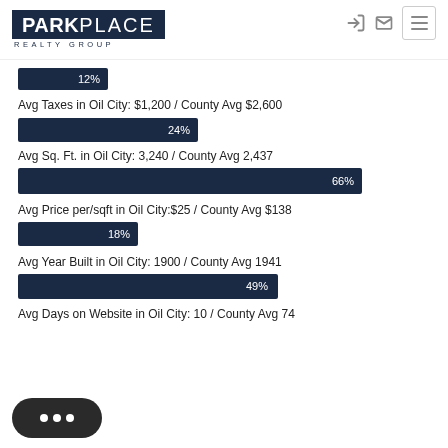[Figure (logo): Park Place Realty Group logo - dark navy blue box with PARKPLACE text and REALTY GROUP subtitle]
[Figure (bar-chart): Oil City vs County Avg Statistics]
Avg Taxes in Oil City: $1,200 / County Avg $2,600
Avg Sq. Ft. in Oil City: 3,240 / County Avg 2,437
Avg Price per/sqft in Oil City:$25 / County Avg $138
Avg Year Built in Oil City: 1900 / County Avg 1941
Avg Days on Website in Oil City: 10 / County Avg 74